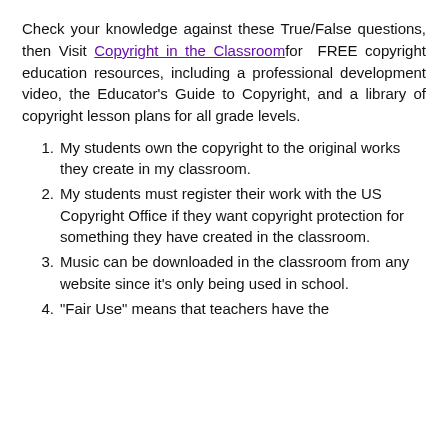Check your knowledge against these True/False questions, then Visit Copyright in the Classroom for FREE copyright education resources, including a professional development video, the Educator's Guide to Copyright, and a library of copyright lesson plans for all grade levels.
My students own the copyright to the original works they create in my classroom.
My students must register their work with the US Copyright Office if they want copyright protection for something they have created in the classroom.
Music can be downloaded in the classroom from any website since it's only being used in school.
"Fair Use" means that teachers have the